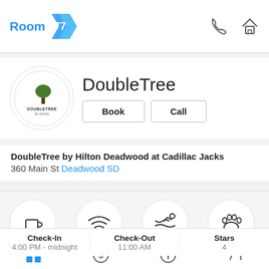Room 77
[Figure (logo): DoubleTree by Hilton hotel logo in a circle]
DoubleTree
Book   Call
DoubleTree by Hilton Deadwood at Cadillac Jacks
360 Main St Deadwood SD
[Figure (infographic): Four amenity icons in circles: Breakfast available, Free WiFi, Number of indoor pools, Pets allowed]
Check-In 4:00 PM - midnight   Check-Out 11:00 AM   Stars 4
Grid | Dollar | Info | Map icons